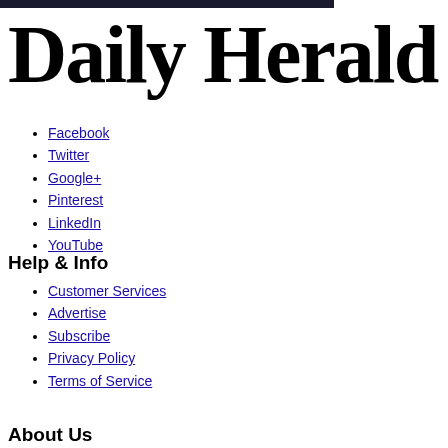[Figure (logo): Dark banner image at top left]
Daily Herald
Facebook
Twitter
Google+
Pinterest
LinkedIn
YouTube
Help & Info
Customer Services
Advertise
Subscribe
Privacy Policy
Terms of Service
About Us